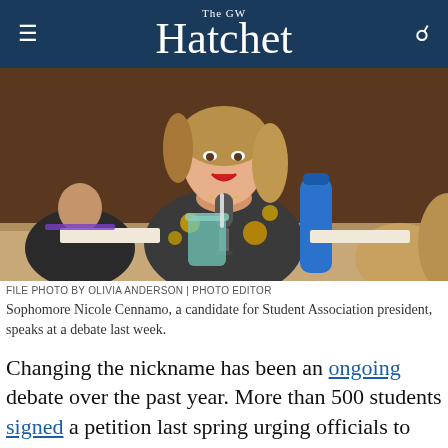The GW Hatchet
[Figure (photo): Sophomore Nicole Cennamo speaking at a microphone during a debate, wearing a floral dress with yellow flowers]
FILE PHOTO BY OLIVIA ANDERSON | PHOTO EDITOR
Sophomore Nicole Cennamo, a candidate for Student Association president, speaks at a debate last week.
Changing the nickname has been an ongoing debate over the past year. More than 500 students signed a petition last spring urging officials to select a new nickname, and students